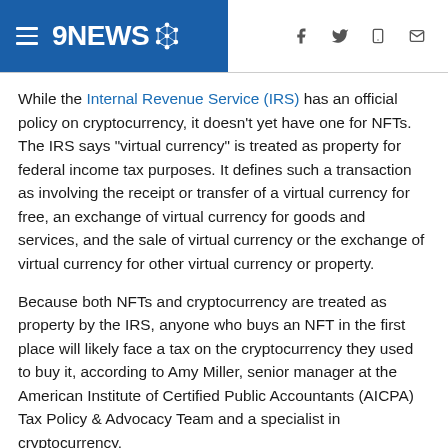9NEWS
While the Internal Revenue Service (IRS) has an official policy on cryptocurrency, it doesn't yet have one for NFTs. The IRS says “virtual currency” is treated as property for federal income tax purposes. It defines such a transaction as involving the receipt or transfer of a virtual currency for free, an exchange of virtual currency for goods and services, and the sale of virtual currency or the exchange of virtual currency for other virtual currency or property.
Because both NFTs and cryptocurrency are treated as property by the IRS, anyone who buys an NFT in the first place will likely face a tax on the cryptocurrency they used to buy it, according to Amy Miller, senior manager at the American Institute of Certified Public Accountants (AICPA) Tax Policy & Advocacy Team and a specialist in cryptocurrency.
“That’s because most NFTs you need to use some form of